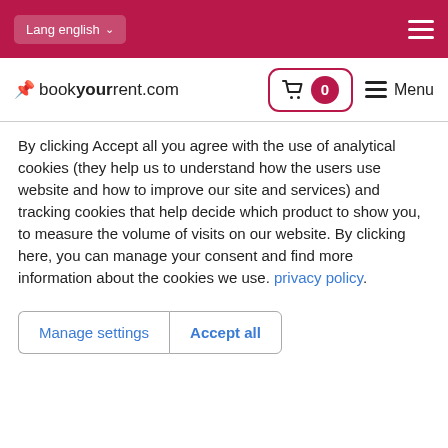Lang english  ☰
[Figure (screenshot): Navigation bar with bookyourrent.com logo, shopping cart icon with badge showing 0, and Menu button]
By clicking Accept all you agree with the use of analytical cookies (they help us to understand how the users use website and how to improve our site and services) and tracking cookies that help decide which product to show you, to measure the volume of visits on our website. By clicking here, you can manage your consent and find more information about the cookies we use. privacy policy.
Manage settings  Accept all